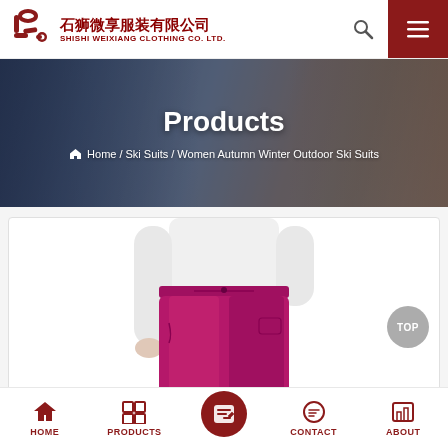[Figure (logo): Shishi Weixiang Clothing Co. Ltd. logo with red stylized W/S mark and Chinese and English company name]
Products
Home / Ski Suits / Women Autumn Winter Outdoor Ski Suits
[Figure (photo): Promotional banner photo showing two skiers in winter outdoor gear on a snowy mountain]
[Figure (photo): Product photo showing a woman wearing magenta/fuchsia ski pants with a white top]
HOME | PRODUCTS | CONTACT | ABOUT